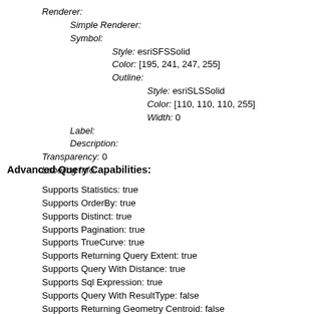Renderer:
  Simple Renderer:
  Symbol:
    Style: esriSFSSolid
    Color: [195, 241, 247, 255]
    Outline:
      Style: esriSLSSolid
      Color: [110, 110, 110, 255]
      Width: 0
  Label:
  Description:
Transparency: 0
Labeling Info:
Advanced Query Capabilities:
Supports Statistics: true
Supports OrderBy: true
Supports Distinct: true
Supports Pagination: true
Supports TrueCurve: true
Supports Returning Query Extent: true
Supports Query With Distance: true
Supports Sql Expression: true
Supports Query With ResultType: false
Supports Returning Geometry Centroid: false
Supports Binning LOD: false
Supports Query With LOD Spatial Reference: false